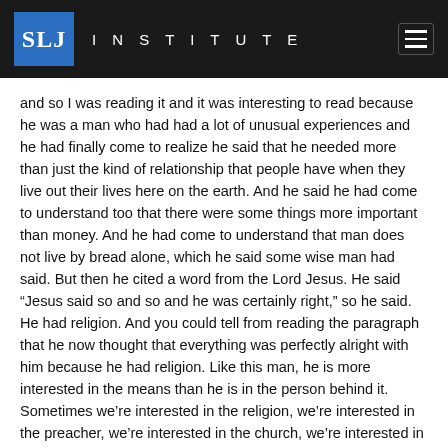SLJ INSTITUTE
and so I was reading it and it was interesting to read because he was a man who had had a lot of unusual experiences and he had finally come to realize he said that he needed more than just the kind of relationship that people have when they live out their lives here on the earth. And he said he had come to understand too that there were some things more important than money. And he had come to understand that man does not live by bread alone, which he said some wise man had said. But then he cited a word from the Lord Jesus. He said “Jesus said so and so and he was certainly right,” so he said. He had religion. And you could tell from reading the paragraph that he now thought that everything was perfectly alright with him because he had religion. Like this man, he is more interested in the means than he is in the person behind it. Sometimes we’re interested in the religion, we’re interested in the preacher, we’re interested in the church, we’re interested in our good resolutions, our good works, our culture, all of these things that we substitute for faith in the person who gave himself as a sacrifice on the cross at Calvary.